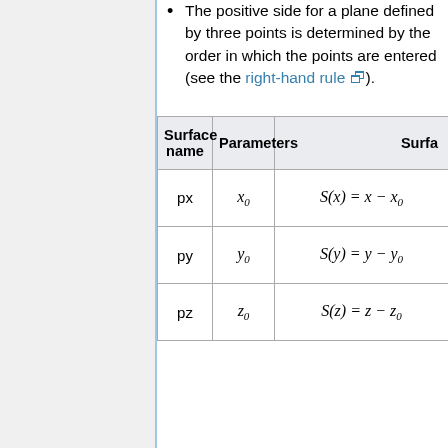The positive side for a plane defined by three points is determined by the order in which the points are entered (see the right-hand rule).
| Surface name | Parameters | Surface [equation] |
| --- | --- | --- |
| px | x₀ | S(x) = x − x₀ |
| py | y₀ | S(y) = y − y₀ |
| pz | z₀ | S(z) = z − z₀ |